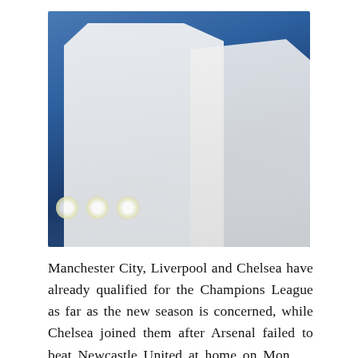[Figure (photo): Two Tottenham Hotspur players in white jerseys celebrating. The left player has his right fist raised and mouth open in celebration. The right player wears a jersey with 'cinch' sponsor visible. Blue stadium lighting in background.]
Manchester City, Liverpool and Chelsea have already qualified for the Champions League as far as the new season is concerned, while Chelsea joined them after Arsenal failed to beat Newcastle United at home on Monday, thus leaving one more spot. The rem... Champions League spots are te... by all...